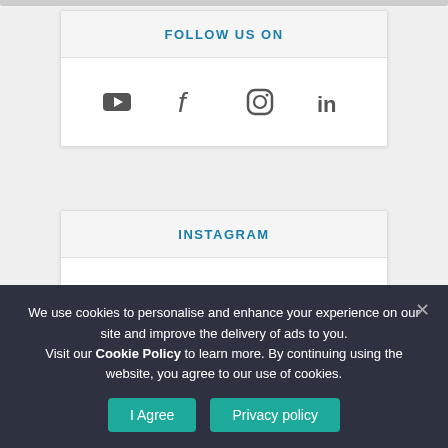FOLLOW US ON
[Figure (infographic): Social media icons row: YouTube, Facebook, Instagram, LinkedIn]
INSTAGRAM
[Figure (infographic): Follow on Instagram button with Instagram icon]
We use cookies to personalise and enhance your experience on our site and improve the delivery of ads to you. Visit our Cookie Policy to learn more. By continuing using the website, you agree to our use of cookies.
I Agree
Privacy policy